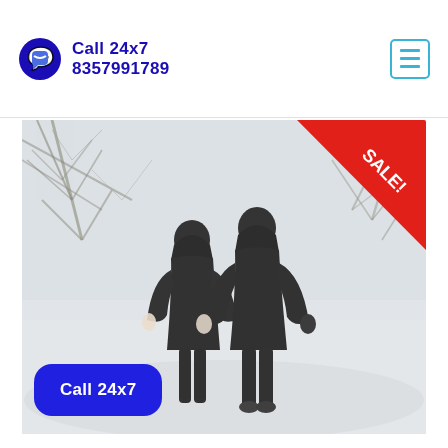Call 24x7 8357991789
[Figure (photo): Two people in black winter coats walking away through a snowy forest scene, with a red SALE! ribbon in the top-right corner and a blue 'Call 24x7' button overlay in the bottom-left]
Call 24x7